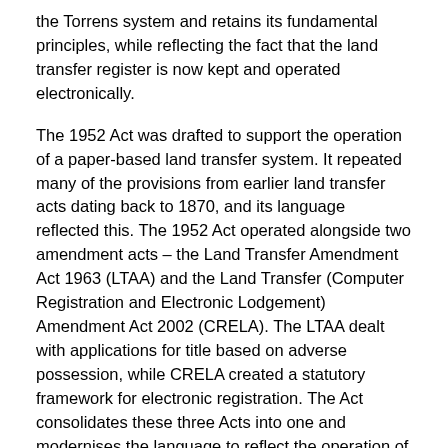the Torrens system and retains its fundamental principles, while reflecting the fact that the land transfer register is now kept and operated electronically.
The 1952 Act was drafted to support the operation of a paper-based land transfer system. It repeated many of the provisions from earlier land transfer acts dating back to 1870, and its language reflected this. The 1952 Act operated alongside two amendment acts – the Land Transfer Amendment Act 1963 (LTAA) and the Land Transfer (Computer Registration and Electronic Lodgement) Amendment Act 2002 (CRELA). The LTAA dealt with applications for title based on adverse possession, while CRELA created a statutory framework for electronic registration. The Act consolidates these three Acts into one and modernises the language to reflect the operation of an electronic register.
In addition to bringing together the provisions of the 1952 Act, the LTAA and CRELA, the Act will repeal the Statutory Land Charges Registration Act 1928 (SLCRA) and incorporate its provisions into the Act to give the Registrar-General of Land (Registrar) greater control over the registration of statutory land